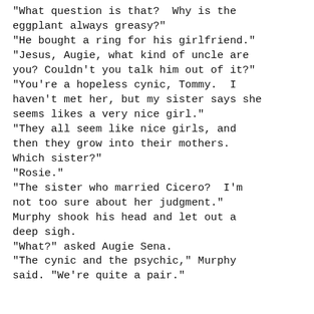"What question is that? Why is the eggplant always greasy?"
"He bought a ring for his girlfriend."
"Jesus, Augie, what kind of uncle are you? Couldn't you talk him out of it?"
"You're a hopeless cynic, Tommy. I haven't met her, but my sister says she seems likes a very nice girl."
"They all seem like nice girls, and then they grow into their mothers. Which sister?"
"Rosie."
"The sister who married Cicero? I'm not too sure about her judgment."
Murphy shook his head and let out a deep sigh.
"What?" asked Augie Sena.
"The cynic and the psychic," Murphy said. "We're quite a pair."